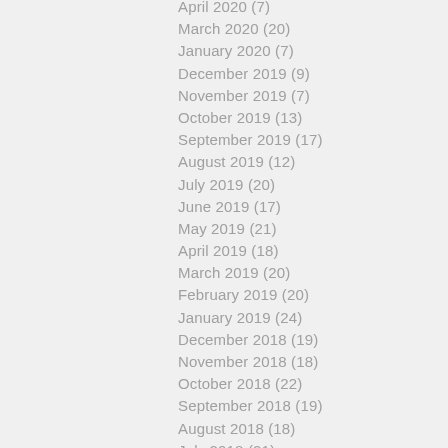April 2020 (7)
March 2020 (20)
January 2020 (7)
December 2019 (9)
November 2019 (7)
October 2019 (13)
September 2019 (17)
August 2019 (12)
July 2019 (20)
June 2019 (17)
May 2019 (21)
April 2019 (18)
March 2019 (20)
February 2019 (20)
January 2019 (24)
December 2018 (19)
November 2018 (18)
October 2018 (22)
September 2018 (19)
August 2018 (18)
July 2018 (21)
June 2018 (21)
May 2018 (24)